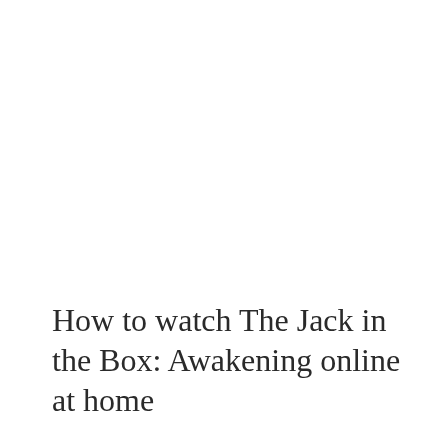How to watch The Jack in the Box: Awakening online at home